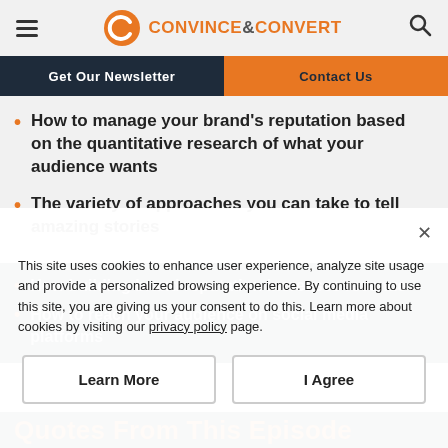Convince & Convert
Get Our Newsletter | Contact Us
How to manage your brand's reputation based on the quantitative research of what your audience wants
The variety of approaches you can take to tell amazing stories
How building brand reputation increases revenue
How to reach your audience on social media platforms
This site uses cookies to enhance user experience, analyze site usage and provide a personalized browsing experience. By continuing to use this site, you are giving us your consent to do this. Learn more about cookies by visiting our privacy policy page.
Quotes From This Episode